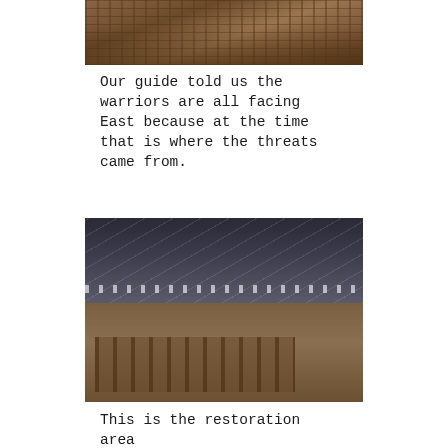[Figure (photo): Rows of terracotta warriors in an excavation pit, viewed from above and to the side, showing the clay figures in various states of preservation amid brown earthen walls.]
Our guide told us the warriors are all facing East because at the time that is where the threats came from.
[Figure (photo): Interior of a large hangar-style building housing terracotta warrior restoration area, with a metal lattice roof structure visible above, and partially assembled and broken warrior figures arranged on the excavation floor below.]
This is the restoration area